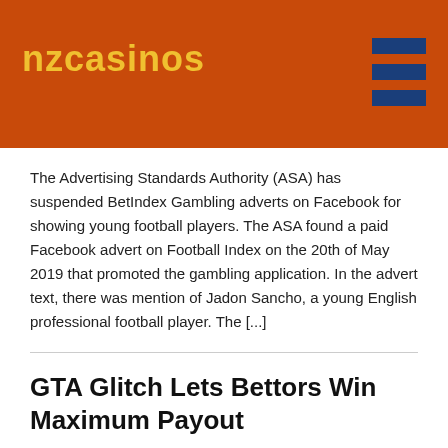nzcasinos
The Advertising Standards Authority (ASA) has suspended BetIndex Gambling adverts on Facebook for showing young football players. The ASA found a paid Facebook advert on Football Index on the 20th of May 2019 that promoted the gambling application. In the advert text, there was mention of Jadon Sancho, a young English professional football player. The [...]
GTA Glitch Lets Bettors Win Maximum Payout
Published by Haley · August 10, 2019 · Categorie(s): Big Wins, Latest News, New Zealand, North Island, South Island